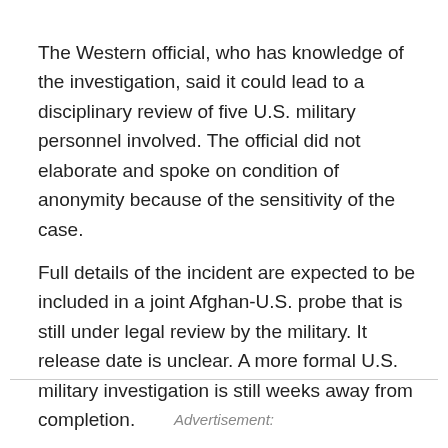The Western official, who has knowledge of the investigation, said it could lead to a disciplinary review of five U.S. military personnel involved. The official did not elaborate and spoke on condition of anonymity because of the sensitivity of the case.
Full details of the incident are expected to be included in a joint Afghan-U.S. probe that is still under legal review by the military. It release date is unclear. A more formal U.S. military investigation is still weeks away from completion.
Advertisement: